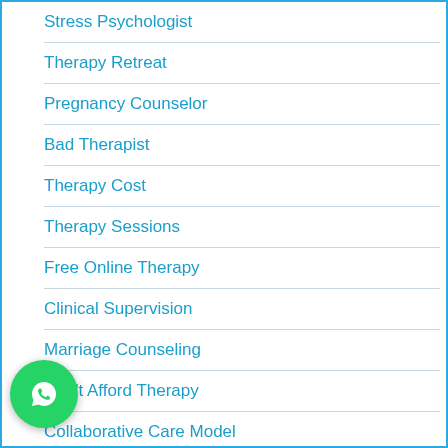Stress Psychologist
Therapy Retreat
Pregnancy Counselor
Bad Therapist
Therapy Cost
Therapy Sessions
Free Online Therapy
Clinical Supervision
Marriage Counseling
Can't Afford Therapy
Collaborative Care Model
[Figure (logo): WhatsApp green circular button with white phone icon]